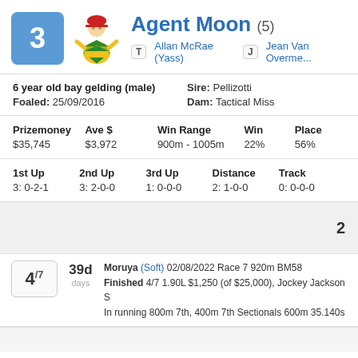Agent Moon (5)
T Allan McRae (Yass)  J Jean Van Overme...
6 year old bay gelding (male)
Foaled: 25/09/2016
Sire: Pellizotti
Dam: Tactical Miss
| Prizemoney | Ave $ | Win Range | Win | Place |
| --- | --- | --- | --- | --- |
| $35,745 | $3,972 | 900m - 1005m | 22% | 56% |
| 1st Up | 2nd Up | 3rd Up | Distance | Track |
| --- | --- | --- | --- | --- |
| 3: 0-2-1 | 3: 2-0-0 | 1: 0-0-0 | 2: 1-0-0 | 0: 0-0-0 |
2
4/7  39d days  Moruya (Soft) 02/08/2022 Race 7 920m BM58
Finished 4/7 1.90L $1,250 (of $25,000), Jockey Jackson S
In running 800m 7th, 400m 7th Sectionals 600m 35.140s